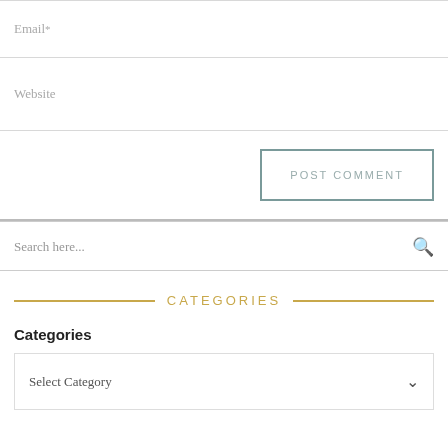Email*
Website
POST COMMENT
Search here...
CATEGORIES
Categories
Select Category